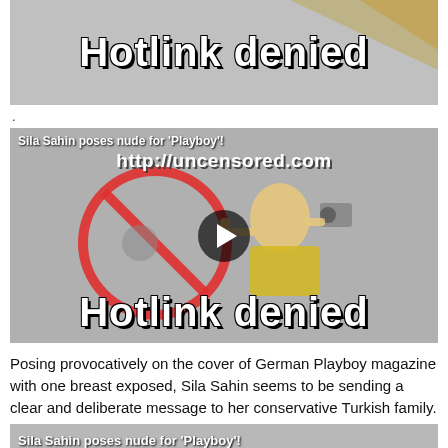[Figure (screenshot): Hotlink denied image placeholder with grey background and white bold text reading 'Hotlink denied']
.
[Figure (screenshot): Video thumbnail showing a 'Hotlink denied' placeholder from uncensored.com with a cartoon photographer character, a no-photo circle symbol, title overlay 'Sila Sahin poses nude for Playboy!' and a play button in the center]
Posing provocatively on the cover of German Playboy magazine with one breast exposed, Sila Sahin seems to be sending a clear and deliberate message to her conservative Turkish family.
[Figure (screenshot): Bottom partial screenshot bar with text 'Sila Sahin poses nude for Playboy!']